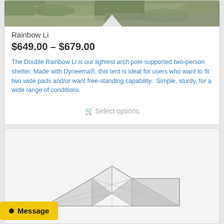[Figure (photo): Product photo top portion showing outdoor terrain/ground texture in greens and grays]
Rainbow Li
$649.00 – $679.00
The Double Rainbow Li is our lightest arch pole supported two-person shelter. Made with Dyneema®, this tent is ideal for users who want to fit two wide pads and/or want free-standing capability.  Simple, sturdy, for a wide range of conditions.
🛒 Select options
[Figure (photo): Product image showing a geometric tent structure with angular white/gray faceted surfaces, viewed from above/front, forming a low-profile shelter shape]